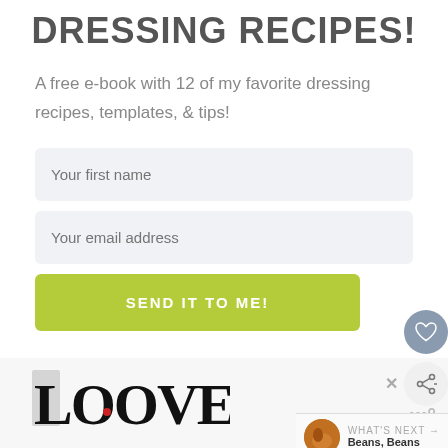DRESSING RECIPES!
A free e-book with 12 of my favorite dressing recipes, templates, & tips!
[Figure (screenshot): Web form with 'Your first name' input field, 'Your email address' input field, and a green 'SEND IT TO ME!' button. Also shows floating heart and share icons on the right edge, and a 'WHAT'S NEXT → Beans, Beans' strip.]
[Figure (logo): Decorative 'LOOVE' text logo in black and white illustrated/typographic style with a small red heart detail.]